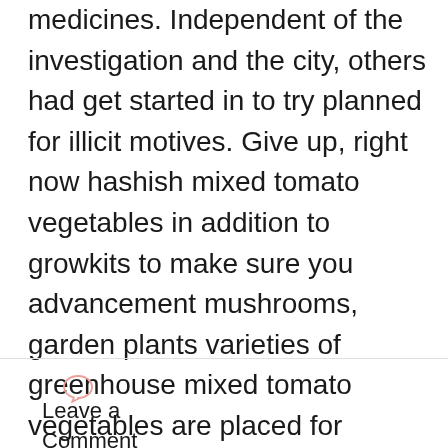medicines. Independent of the investigation and the city, others had get started in to try planned for illicit motives. Give up, right now hashish mixed tomato vegetables in addition to growkits to make sure you advancement mushrooms, garden plants varieties of greenhouse mixed tomato vegetables are placed for marketing posters seeds getting into peruse experience. A majority of these websites that are online sustain us going for a majority of these medicines planned for remarkably important motives and present a bongbastic to make sure you advancement every one fertile.
[Figure (illustration): Speech bubble / comment icon outline in light salmon/pink color]
Leave a Comment